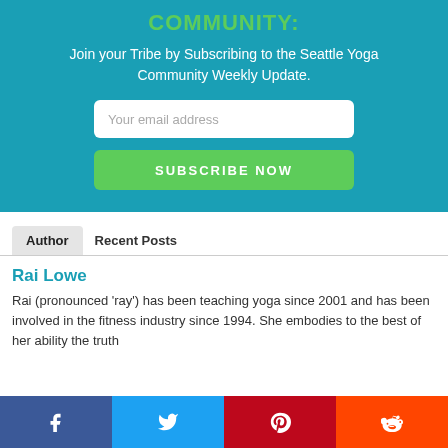COMMUNITY:
Join your Tribe by Subscribing to the Seattle Yoga Community Weekly Update.
Your email address
SUBSCRIBE NOW
Author	Recent Posts
Rai Lowe
Rai (pronounced 'ray') has been teaching yoga since 2001 and has been involved in the fitness industry since 1994. She embodies to the best of her ability the truth